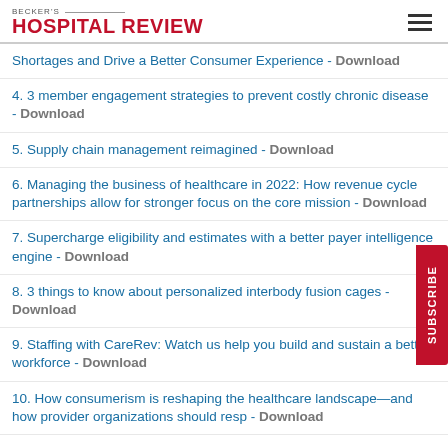BECKER'S HOSPITAL REVIEW
Shortages and Drive a Better Consumer Experience - Download
4. 3 member engagement strategies to prevent costly chronic disease - Download
5. Supply chain management reimagined - Download
6. Managing the business of healthcare in 2022: How revenue cycle partnerships allow for stronger focus on the core mission - Download
7. Supercharge eligibility and estimates with a better payer intelligence engine - Download
8. 3 things to know about personalized interbody fusion cages - Download
9. Staffing with CareRev: Watch us help you build and sustain a better workforce - Download
10. How consumerism is reshaping the healthcare landscape—and how provider organizations should resp - Download